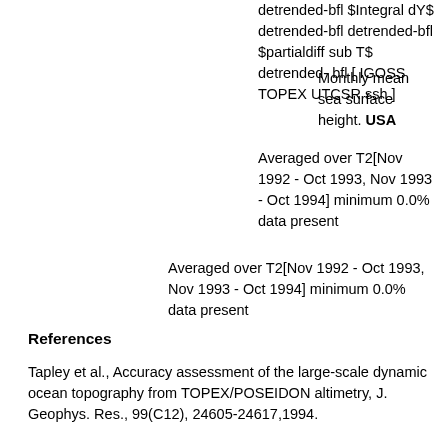detrended-bfl $Integral dY$ detrended-bfl detrended-bfl $partialdiff sub T$ detrended-bfl [ IGOSS TOPEX UTCSR ssh ]
Monthly mean sea surface height. USA
Averaged over T2[Nov 1992 - Oct 1993, Nov 1993 - Oct 1994] minimum 0.0% data present
Averaged over T2[Nov 1992 - Oct 1993, Nov 1993 - Oct 1994] minimum 0.0% data present
References
Tapley et al., Accuracy assessment of the large-scale dynamic ocean topography from TOPEX/POSEIDON altimetry, J. Geophys. Res., 99(C12), 24605-24617,1994.